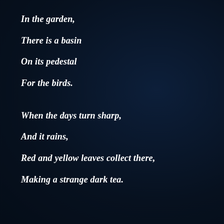In the garden,
There is a basin
On its pedestal
For the birds.
When the days turn sharp,
And it rains,
Red and yellow leaves collect there,
Making a strange dark tea.